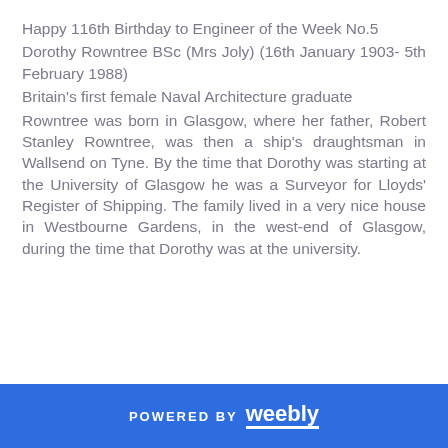Happy 116th Birthday to Engineer of the Week No.5
Dorothy Rowntree BSc (Mrs Joly) (16th January 1903- 5th February 1988)
Britain's first female Naval Architecture graduate
Rowntree was born in Glasgow, where her father, Robert Stanley Rowntree, was then a ship's draughtsman in Wallsend on Tyne. By the time that Dorothy was starting at the University of Glasgow he was a Surveyor for Lloyds' Register of Shipping. The family lived in a very nice house in Westbourne Gardens, in the west-end of Glasgow, during the time that Dorothy was at the university.
POWERED BY weebly